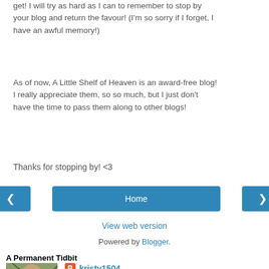get! I will try as hard as I can to remember to stop by your blog and return the favour! (I'm so sorry if I forget, I have an awful memory!)
As of now, A Little Shelf of Heaven is an award-free blog! I really appreciate them, so so much, but I just don't have the time to pass them along to other blogs!
Thanks for stopping by! <3
[Figure (screenshot): Navigation bar with left arrow button, Home button, and right arrow button, all in blue]
View web version
Powered by Blogger.
A Permanent Tidbit
[Figure (photo): Profile photo of a young woman outdoors among tree branches and greenery]
kristy1504
Hey there, I'm Kristy! Thanks for stopping by! I'm a '97 baby, born and raised in BC, currently studying